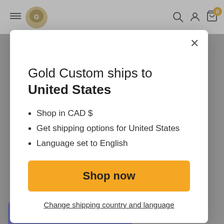[Figure (screenshot): Website navigation bar with hamburger menu, logo, search icon, account icon, and cart icon with badge showing 0]
Gold Custom ships to United States
Shop in CAD $
Get shipping options for United States
Language set to English
Shop now
Change shipping country and language
[Figure (logo): Partial.ly payment banner at bottom of page]